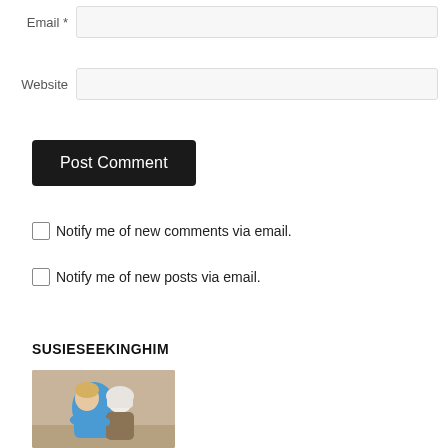Email *
Website
Post Comment
Notify me of new comments via email.
Notify me of new posts via email.
SUSIESEEKINGHIM
[Figure (photo): A person in a blue shirt hugging another person wearing a white head covering, outdoors with a sandy/beige background.]